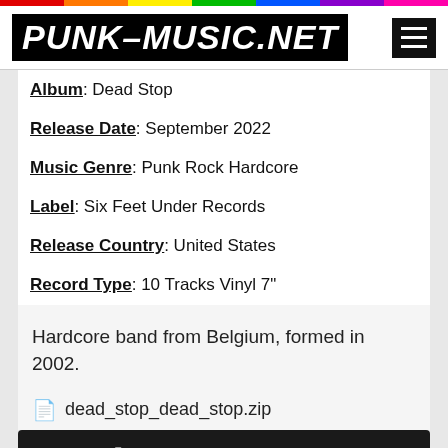PUNK-MUSIC.NET
Album: Dead Stop
Release Date: September 2022
Music Genre: Punk Rock Hardcore
Label: Six Feet Under Records
Release Country: United States
Record Type: 10 Tracks Vinyl 7"
Hardcore band from Belgium, formed in 2002.
dead_stop_dead_stop.zip
DOWNLOAD THIS